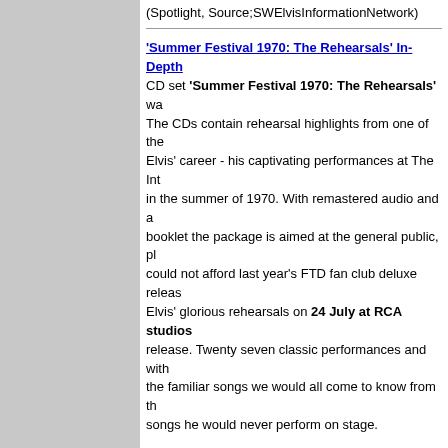(Spotlight, Source;SWElvisInformationNetwork)
'Summer Festival 1970: The Rehearsals' In-Depth CD set 'Summer Festival 1970: The Rehearsals' wa... The CDs contain rehearsal highlights from one of the... Elvis' career - his captivating performances at The Int... in the summer of 1970. With remastered audio and a... booklet the package is aimed at the general public, pl... could not afford last year’s FTD fan club deluxe releas... Elvis' glorious rehearsals on 24 July at RCA studios... release. Twenty seven classic performances and with... the familiar songs we would all come to know from th... songs he would never perform on stage.
EIN's Nigel Patterson and Piers Beagley check ou... discover some neat surprises along the way.
(CD Reviews, Source;ElvisInformationNetwork)
Book Review - 'ELVIS UK3': Recently published 'EL... to Elvis Presley's British CD Releases 1983-2005'... Minto comprises 1400 pages with over a million word... This examination of Elvis' British releases is an incre...